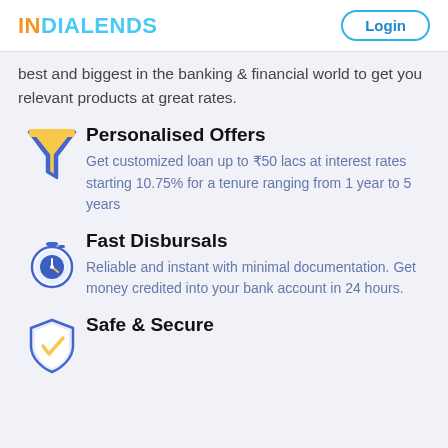INDIALENDS  Login
best and biggest in the banking & financial world to get you relevant products at great rates.
Personalised Offers
Get customized loan up to ₹50 lacs at interest rates starting 10.75% for a tenure ranging from 1 year to 5 years
Fast Disbursals
Reliable and instant with minimal documentation. Get money credited into your bank account in 24 hours.
Safe & Secure
[Figure (illustration): Shield icon with checkmark for Safe & Secure section]